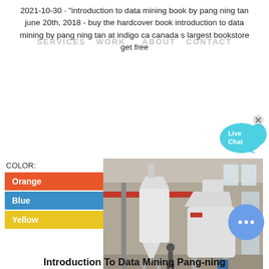2021-10-30 · "introduction to data mining book by pang ning tan june 20th, 2018 - buy the hardcover book introduction to data mining by pang ning tan at indigo ca canada s largest bookstore get free
SERVICES  WORK   ABOUT  CONTACT
[Figure (screenshot): Live Chat button with cyan speech bubble and x close button]
COLOR:
Orange
Blue
Yellow
[Figure (photo): Industrial milling machine equipment in a factory/warehouse setting, white large grinder machine with hopper and cyclone separator]
[Figure (screenshot): Blue circular chat/message button with three dots]
Introduction To Data Mining Pang-ning